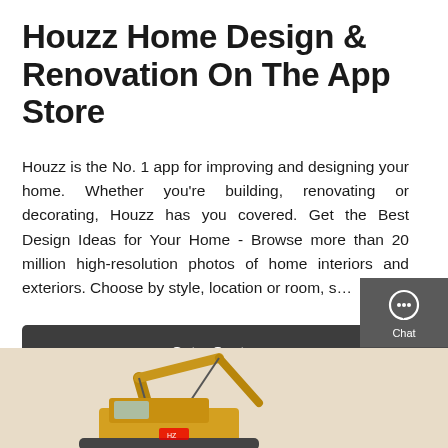Houzz Home Design & Renovation On The App Store
Houzz is the No. 1 app for improving and designing your home. Whether you're building, renovating or decorating, Houzz has you covered. Get the Best Design Ideas for Your Home - Browse more than 20 million high-resolution photos of home interiors and exteriors. Choose by style, location or room, s…
Get a Quote
[Figure (screenshot): A dark sidebar panel on the right side with Chat (speech bubble icon), Email (envelope icon), and Contact (speech dots icon) options. A red divider separates Email from Contact.]
[Figure (photo): Bottom portion of the page showing a yellow construction excavator/digger machine.]